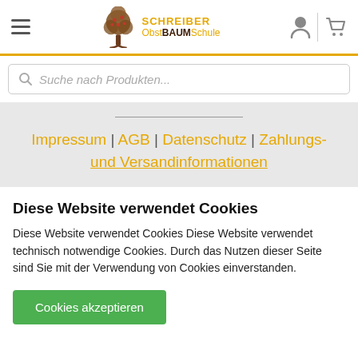Schreiber ObstBAUMSchule – header with hamburger menu, logo, user and cart icons
Suche nach Produkten...
Impressum | AGB | Datenschutz | Zahlungs- und Versandinformationen
Diese Website verwendet Cookies
Diese Website verwendet Cookies Diese Website verwendet technisch notwendige Cookies. Durch das Nutzen dieser Seite sind Sie mit der Verwendung von Cookies einverstanden.
Cookies akzeptieren